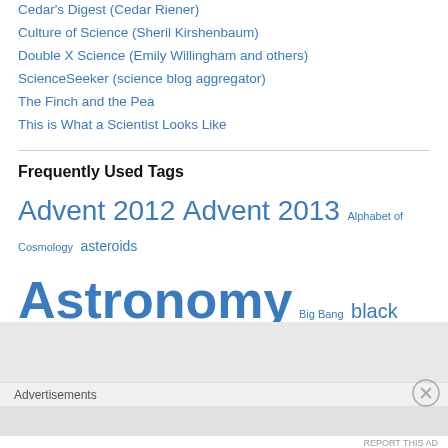Cedar's Digest (Cedar Riener)
Culture of Science (Sheril Kirshenbaum)
Double X Science (Emily Willingham and others)
ScienceSeeker (science blog aggregator)
The Finch and the Pea
This is What a Scientist Looks Like
Frequently Used Tags
Advent 2012  Advent 2013  Alphabet of Cosmology  asteroids  Astronomy  Big Bang  black holes  Climate change  comets  Comics  cosmic microwave background  cosmic rays  Cosmology  ...
Advertisements